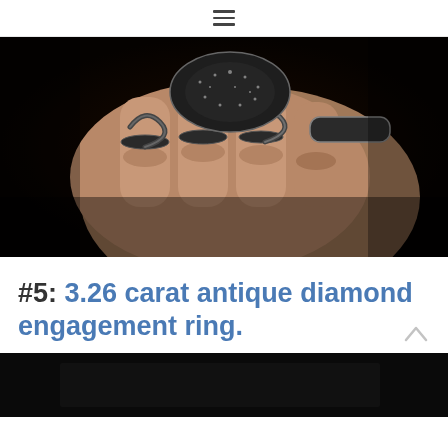≡
[Figure (photo): A hand wearing elaborate dark crystal/diamond snake-shaped rings and bracelets against a black background]
#5: 3.26 carat antique diamond engagement ring.
[Figure (photo): Bottom portion of next image, dark/black background]